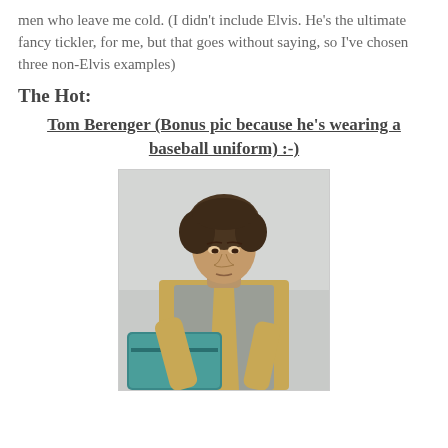men who leave me cold. (I didn't include Elvis. He's the ultimate fancy tickler, for me, but that goes without saying, so I've chosen three non-Elvis examples)
The Hot:
Tom Berenger (Bonus pic because he's wearing a baseball uniform) :-)
[Figure (photo): Photo of a young man with curly dark hair, wearing a beige/yellow long-sleeve shirt and a gray vest, leaning forward over a teal/blue bag or case. Background is light gray and blurred.]